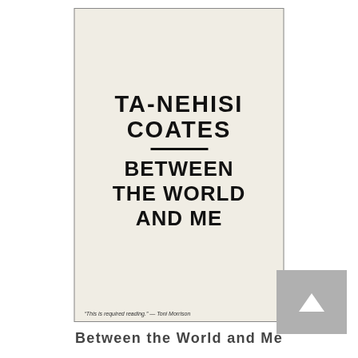[Figure (illustration): Book cover of 'Between the World and Me' by Ta-Nehisi Coates. Cream/off-white background with bold black text. Author name 'TA-NEHISI COATES' at top in large bold letters, a short horizontal line below, then title 'BETWEEN THE WORLD AND ME' in large bold letters. Quote at bottom: 'This is required reading.' — Toni Morrison.]
Between the World and Me
Ta-Nehisi Coates
2015
[Figure (illustration): Partial book cover of 'Race Matters' visible at bottom of page, showing a man's face and the title text 'Race Matters' in large letters.]